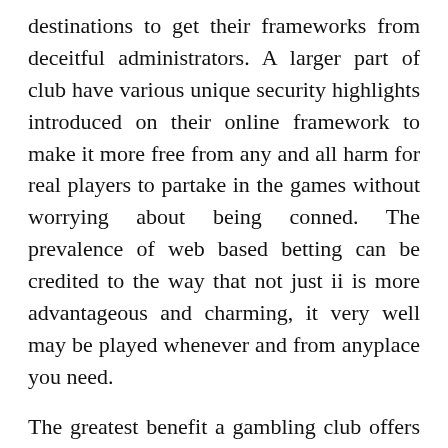destinations to get their frameworks from deceitful administrators. A larger part of club have various unique security highlights introduced on their online framework to make it more free from any and all harm for real players to partake in the games without worrying about being conned. The prevalence of web based betting can be credited to the way that not just ii is more advantageous and charming, it very well may be played whenever and from anyplace you need.
The greatest benefit a gambling club offers to its benefactors is secrecy. No gambling club request that you uncover your actual character or...